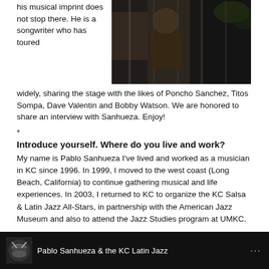his musical imprint does not stop there.  He is a songwriter who has toured widely, sharing the stage with the likes of Poncho Sanchez, Titos Sompa, Dave Valentin and Bobby Watson. We are honored to share an interview with Sanhueza. Enjoy!
[Figure (photo): Outdoor photo of a person, dark/shadowed background with foliage]
*
Introduce yourself. Where do you live and work?
My name is Pablo Sanhueza I've lived and worked as a musician in KC since 1996. In 1999, I moved to the west coast (Long Beach, California) to continue gathering musical and life experiences. In 2003, I returned to KC to organize the KC Salsa & Latin Jazz All-Stars, in partnership with the American Jazz Museum and also to attend the Jazz Studies program at UMKC.
[Figure (photo): Dark banner/bar at bottom showing Pablo Sanhueza & the KC Latin Jazz logo and text]